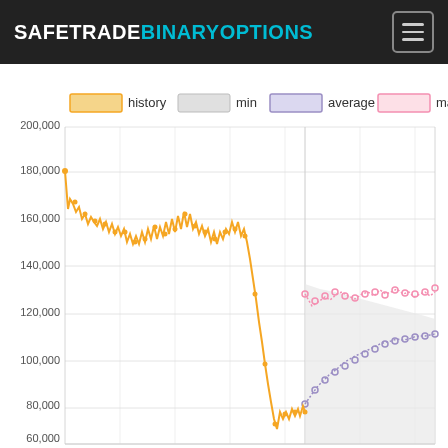SAFETRADE BINARYOPTIONS
[Figure (line-chart): Line chart showing financial instrument history from ~185,000 declining to ~75,000 then partially recovering to ~90,000, with forecast bands (min/average/max) shown for the right portion of the chart]